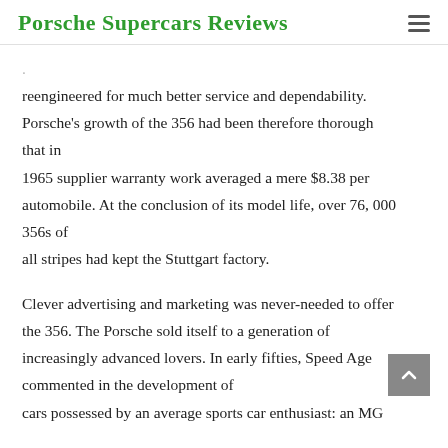Porsche Supercars Reviews
reengineered for much better service and dependability. Porsche's growth of the 356 had been therefore thorough that in 1965 supplier warranty work averaged a mere $8.38 per automobile. At the conclusion of its model life, over 76, 000 356s of all stripes had kept the Stuttgart factory.
Clever advertising and marketing was never-needed to offer the 356. The Porsche sold itself to a generation of increasingly advanced lovers. In early fifties, Speed Age commented in the development of cars possessed by an average sports car enthusiast: an MG